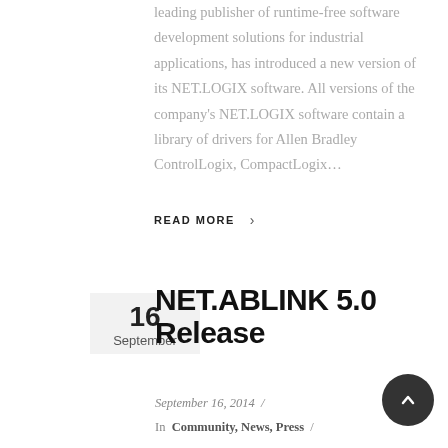leading publisher of runtime-free software development solutions for industrial applications, has introduced a new version of its NET.LOGIX software. All versions of the company's NET.LOGIX software contain a library of drivers for Allen Bradley ControlLogix, CompactLogix…
READ MORE >
16 September
NET.ABLINK 5.0 Release
September 16, 2014 /
In Community, News, Press /